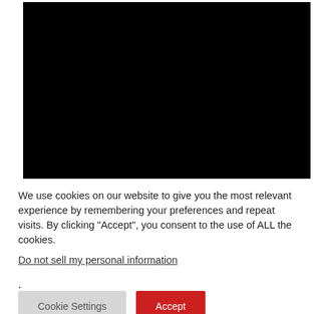[Figure (photo): A large black rectangle representing a darkened or unloaded image/video area on a webpage]
We use cookies on our website to give you the most relevant experience by remembering your preferences and repeat visits. By clicking “Accept”, you consent to the use of ALL the cookies.
Do not sell my personal information.
Cookie Settings
Accept